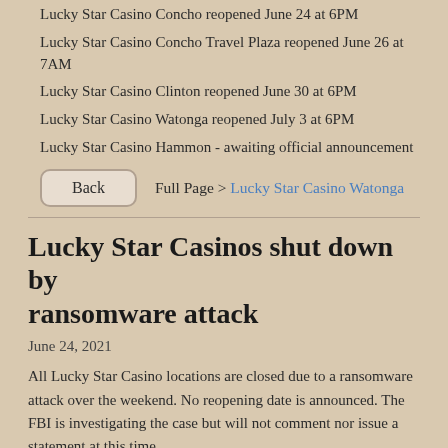Lucky Star Casino Concho reopened June 24 at 6PM
Lucky Star Casino Concho Travel Plaza reopened June 26 at 7AM
Lucky Star Casino Clinton reopened June 30 at 6PM
Lucky Star Casino Watonga reopened July 3 at 6PM
Lucky Star Casino Hammon - awaiting official announcement
Back   Full Page > Lucky Star Casino Watonga
Lucky Star Casinos shut down by ransomware attack
June 24, 2021
All Lucky Star Casino locations are closed due to a ransomware attack over the weekend. No reopening date is announced. The FBI is investigating the case but will not comment nor issue a statement at this time.
Ransomware typically enters a computer network from an email